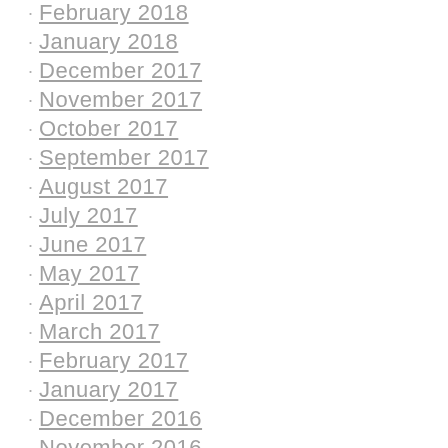February 2018
January 2018
December 2017
November 2017
October 2017
September 2017
August 2017
July 2017
June 2017
May 2017
April 2017
March 2017
February 2017
January 2017
December 2016
November 2016